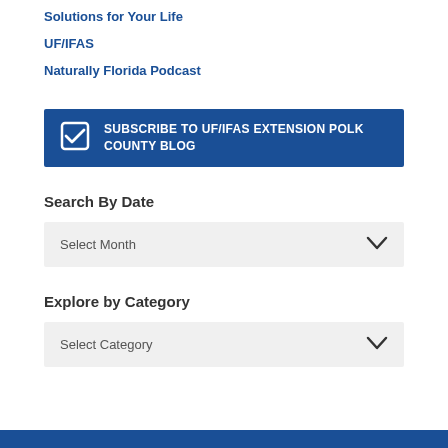Solutions for Your Life
UF/IFAS
Naturally Florida Podcast
SUBSCRIBE TO UF/IFAS EXTENSION POLK COUNTY BLOG
Search By Date
Select Month
Explore by Category
Select Category